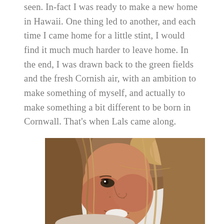seen. In-fact I was ready to make a new home in Hawaii. One thing led to another, and each time I came home for a little stint, I would find it much much harder to leave home. In the end, I was drawn back to the green fields and the fresh Cornish air, with an ambition to make something of myself, and actually to make something a bit different to be born in Cornwall. That's when Lals came along.
[Figure (photo): Close-up photograph of a smiling woman with brown and blonde highlighted hair, looking slightly to the side. She has freckles and is photographed against a light background.]